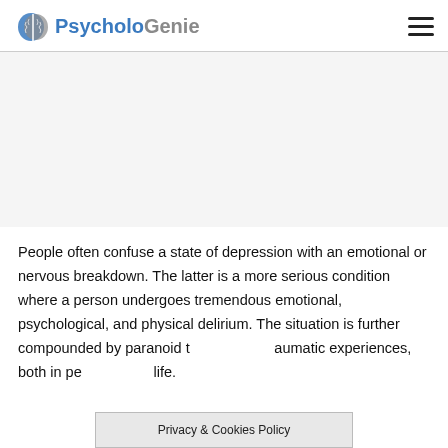PsycholoGenie
[Figure (other): Advertisement/blank area placeholder]
People often confuse a state of depression with an emotional or nervous breakdown. The latter is a more serious condition where a person undergoes tremendous emotional, psychological, and physical delirium. The situation is further compounded by paranoid thoughts, reminiscence of traumatic experiences, both in personal and professional life.
Privacy & Cookies Policy